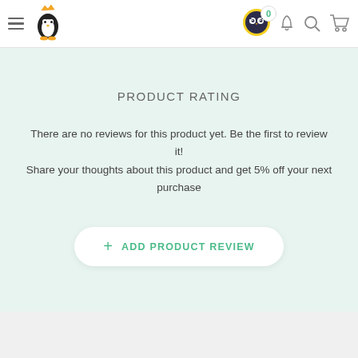[Figure (screenshot): App header with hamburger menu, penguin logo, owl avatar with 0 badge, bell notification icon, search icon, and cart icon]
PRODUCT RATING
There are no reviews for this product yet. Be the first to review it!
Share your thoughts about this product and get 5% off your next purchase
+ ADD PRODUCT REVIEW